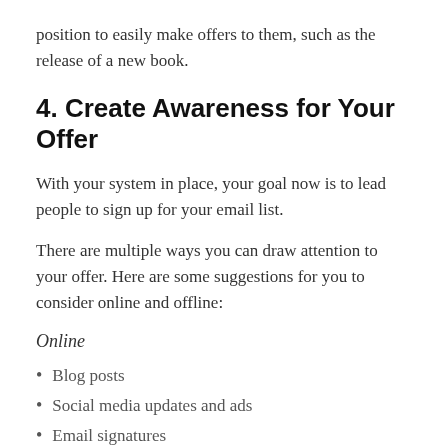position to easily make offers to them, such as the release of a new book.
4. Create Awareness for Your Offer
With your system in place, your goal now is to lead people to sign up for your email list.
There are multiple ways you can draw attention to your offer. Here are some suggestions for you to consider online and offline:
Online
Blog posts
Social media updates and ads
Email signatures
About page